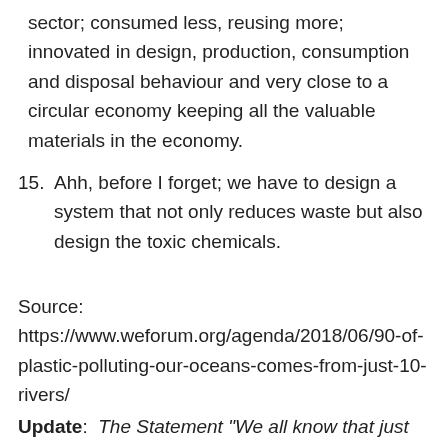sector; consumed less, reusing more; innovated in design, production, consumption and disposal behaviour and very close to a circular economy keeping all the valuable materials in the economy.
15. Ahh, before I forget; we have to design a system that not only reduces waste but also design the toxic chemicals.
Source: https://www.weforum.org/agenda/2018/06/90-of-plastic-polluting-our-oceans-comes-from-just-10-rivers/
Update: The Statement "We all know that just 10